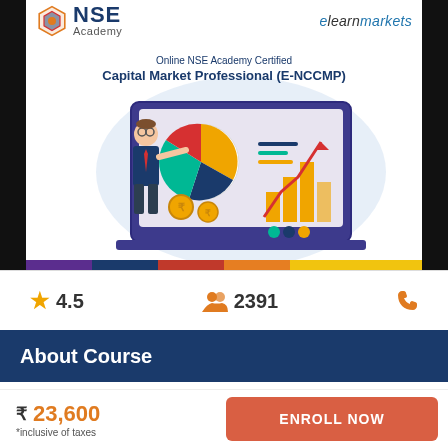[Figure (illustration): NSE Academy and ElearnMarkets co-branded banner showing a businessman presenting charts on a laptop screen with pie chart, bar chart, and coin icons. Course title reads 'Online NSE Academy Certified Capital Market Professional (E-NCCMP)'. Bottom has a multicolor horizontal bar (purple, blue, red, orange, yellow).]
★ 4.5   👥 2391   📞
About Course
Listed In : Financial Markets
₹ 23,600
*inclusive of taxes
ENROLL NOW